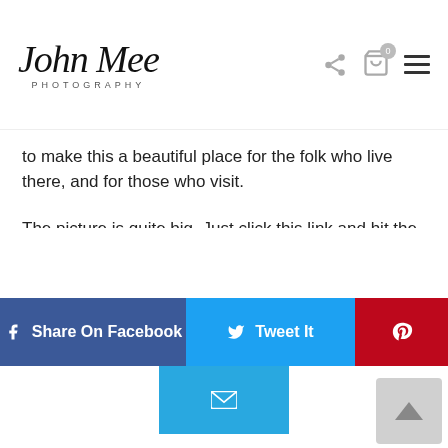John Mee Photography
to make this a beautiful place for the folk who live there, and for those who visit.
The picture is quite big. Just click this link and hit the magnification glass on the cursor to see it bigger.
It's not for sale or download. I just wanted to share it. If you do like it, let me know. And, be sure to visit this city. Thanks for reading this far.
Share On Facebook
Tweet It
(Pinterest icon)
(Email icon)